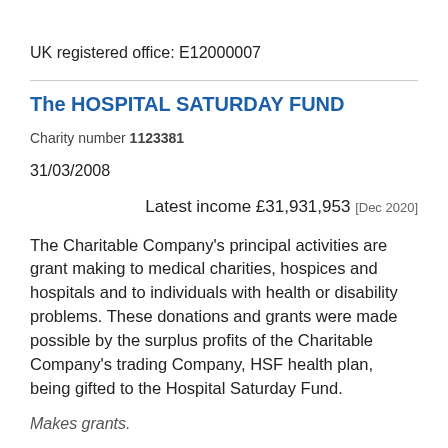UK registered office: E12000007
The HOSPITAL SATURDAY FUND
Charity number 1123381
31/03/2008
Latest income £31,931,953 [Dec 2020]
The Charitable Company's principal activities are grant making to medical charities, hospices and hospitals and to individuals with health or disability problems. These donations and grants were made possible by the surplus profits of the Charitable Company's trading Company, HSF health plan, being gifted to the Hospital Saturday Fund.
Makes grants.